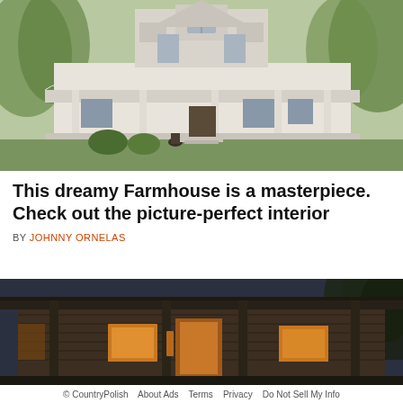[Figure (photo): Large white Victorian farmhouse with wraparound porch, ornate trim, columns, and dormer windows surrounded by trees]
This dreamy Farmhouse is a masterpiece. Check out the picture-perfect interior
BY JOHNNY ORNELAS
[Figure (photo): Exterior of a rustic log cabin or farmhouse at dusk/night with porch columns and warm interior lighting visible through windows]
© CountryPolish   About Ads   Terms   Privacy   Do Not Sell My Info